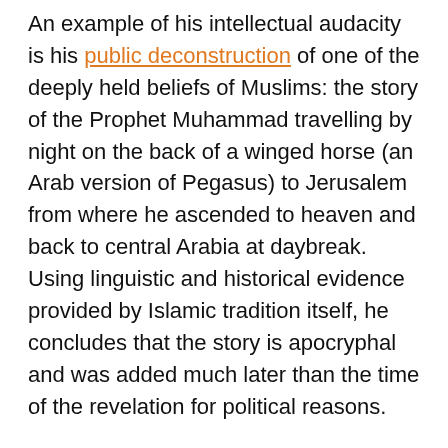An example of his intellectual audacity is his public deconstruction of one of the deeply held beliefs of Muslims: the story of the Prophet Muhammad travelling by night on the back of a winged horse (an Arab version of Pegasus) to Jerusalem from where he ascended to heaven and back to central Arabia at daybreak. Using linguistic and historical evidence provided by Islamic tradition itself, he concludes that the story is apocryphal and was added much later than the time of the revelation for political reasons.
Given the centrality of this religious narrative to Palestinians' (and the wider Muslim world's) claim to Jerusalem, one can understand why such views have drawn so much fire from religious scholars and Arab nationalists. Yet Ziedan was quick to point out that the Palestinians' claim should be based not on religion but on historical evidence that they were the